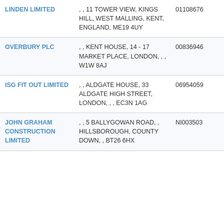| Name | Address | Number | Date |
| --- | --- | --- | --- |
| LINDEN LIMITED | , , 11 TOWER VIEW, KINGS HILL, WEST MALLING, KENT, ENGLAND, ME19 4UY | 01108676 | 201 06-3 |
| OVERBURY PLC | , , KENT HOUSE, 14 - 17 MARKET PLACE, LONDON, , , W1W 8AJ | 00836946 | 201 12-3 |
| ISG FIT OUT LIMITED | , , ALDGATE HOUSE, 33 ALDGATE HIGH STREET, LONDON, , , EC3N 1AG | 06954059 | 201 12-3 |
| JOHN GRAHAM CONSTRUCTION LIMITED | , , 5 BALLYGOWAN ROAD, , HILLSBOROUGH, COUNTY DOWN, , BT26 6HX | NI003503 | 201 03-3 |